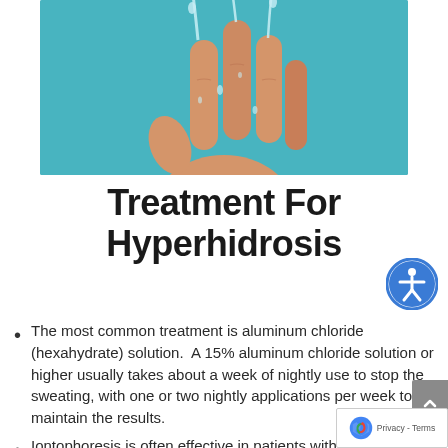[Figure (photo): A hand with water splashing or dripping from the fingers against a teal/turquoise background, illustrating hyperhidrosis (excessive sweating of hands).]
Treatment For Hyperhidrosis
The most common treatment is aluminum chloride (hexahydrate) solution.  A 15% aluminum chloride solution or higher usually takes about a week of nightly use to stop the sweating, with one or two nightly applications per week to maintain the results.
Iontophoresis is often effective in patients with hand or foot hyperhidrosis who do not respond to